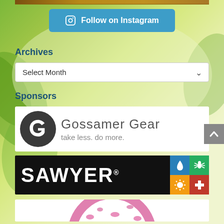[Figure (photo): Top image strip showing partial photo at top of page]
[Figure (other): Follow on Instagram button with Instagram icon]
Archives
[Figure (other): Select Month dropdown selector]
Sponsors
[Figure (logo): Gossamer Gear sponsor logo - circular g logo with text 'Gossamer Gear' and tagline 'take less. do more.']
[Figure (logo): Sawyer sponsor banner - black background with white SAWYER text and colorful grid icons]
[Figure (photo): Third sponsor - partial pink leopard print circular logo visible at bottom]